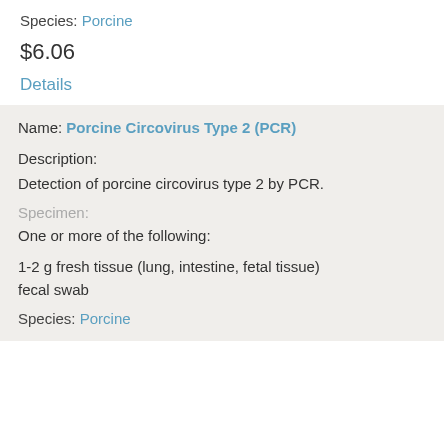Species: Porcine
$6.06
Details
Name: Porcine Circovirus Type 2 (PCR)
Description:
Detection of porcine circovirus type 2 by PCR.
Specimen:
One or more of the following:
1-2 g fresh tissue (lung, intestine, fetal tissue)
fecal swab
Species: Porcine